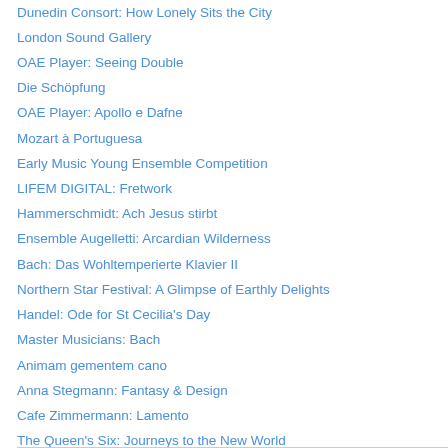Dunedin Consort: How Lonely Sits the City
London Sound Gallery
OAE Player: Seeing Double
Die Schöpfung
OAE Player: Apollo e Dafne
Mozart à Portuguesa
Early Music Young Ensemble Competition
LIFEM DIGITAL: Fretwork
Hammerschmidt: Ach Jesus stirbt
Ensemble Augelletti: Arcardian Wilderness
Bach: Das Wohltemperierte Klavier II
Northern Star Festival: A Glimpse of Earthly Delights
Handel: Ode for St Cecilia's Day
Master Musicians: Bach
Animam gementem cano
Anna Stegmann: Fantasy & Design
Cafe Zimmermann: Lamento
The Queen's Six: Journeys to the New World
Lobo: Masses